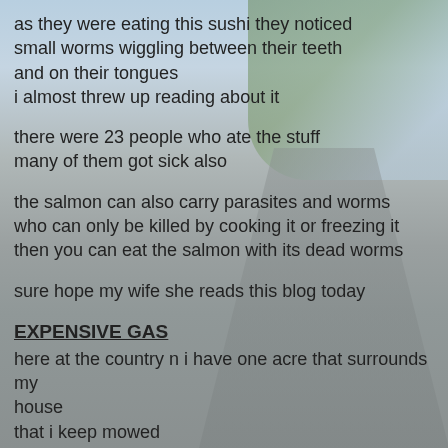as they were eating this sushi they noticed small worms wiggling between their teeth and on their tongues i almost threw up reading about it
there were 23 people who ate the stuff many of them got sick also
the salmon can also carry parasites and worms who can only be killed by cooking it or freezing it then you can eat the salmon with its dead worms
sure hope my wife she reads this blog today
EXPENSIVE GAS
here at the country n i have one acre that surrounds my house that i keep mowed when its dry like this i only have to mow it twice a year once after all the wildflowers have bloomed and all gone to seed